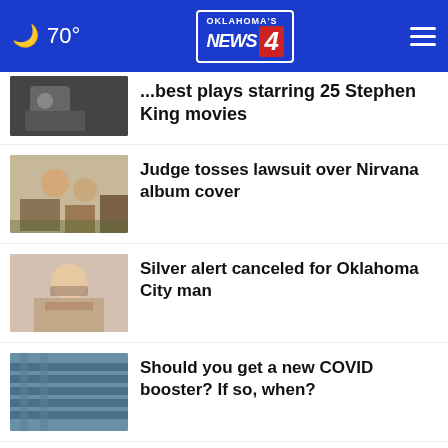Oklahoma's News 4 — 70°
...best plays starring 25 Stephen King movies
Judge tosses lawsuit over Nirvana album cover
Silver alert canceled for Oklahoma City man
Should you get a new COVID booster? If so, when?
Bed Bath & Beyond CFO Gustavo Arnal dies
Father accused of leaving baby in hot
Full Service Marketing
Why your Amazon package could not